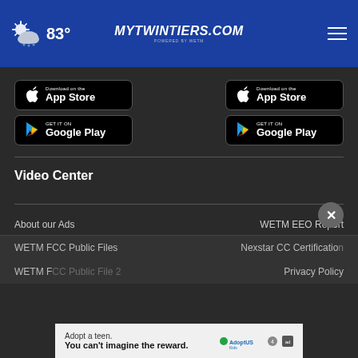83° | MyTwinTiers.com
[Figure (screenshot): App Store download button (left)]
[Figure (screenshot): Google Play download button (left)]
[Figure (screenshot): App Store download button (right)]
[Figure (screenshot): Google Play download button (right)]
Video Center
About our Ads
WETM EEO Report
WETM FCC Public Files
Nexstar CC Certification
WETM FCC Public File 2
Privacy Policy
[Figure (screenshot): Adopt US Kids advertisement banner: 'Adopt a teen. You can't imagine the reward.']